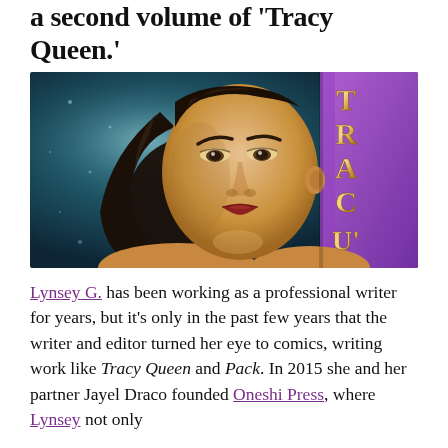a second volume of 'Tracy Queen.'
[Figure (illustration): Illustrated portrait of a woman with dark hair pulled back, wearing no visible clothing, with stylized cartoon/comic art style. To the right side, the letters T, R, A, C, U' are displayed vertically in a golden/bronze metallic font against a purple background. The background features a teal/blue gradient with star-like light effects.]
Lynsey G. has been working as a professional writer for years, but it's only in the past few years that the writer and editor turned her eye to comics, writing work like Tracy Queen and Pack. In 2015 she and her partner Jayel Draco founded Oneshi Press, where Lynsey not only